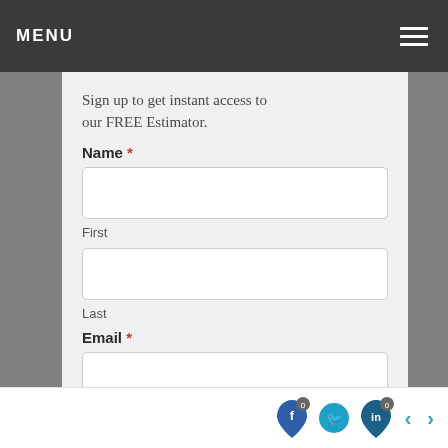MENU
Sign up to get instant access to our FREE Estimator.
Name *
First
Last
Email *